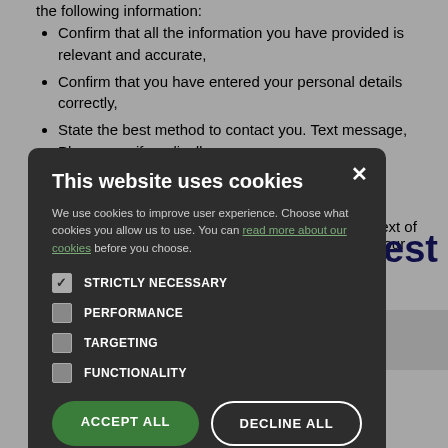the following information:
Confirm that all the information you have provided is relevant and accurate,
Confirm that you have entered your personal details correctly,
State the best method to contact you. Text message, Phone ... one if medically ...
...text of your
[Figure (screenshot): Cookie consent modal dialog on a dark background overlay. Title: 'This website uses cookies'. Body text explains cookie usage with a link 'read more about our cookies'. Four options with checkboxes: STRICTLY NECESSARY (checked), PERFORMANCE, TARGETING, FUNCTIONALITY. Two buttons: 'ACCEPT ALL' (green) and 'DECLINE ALL' (outlined white).]
est
Date of birth: